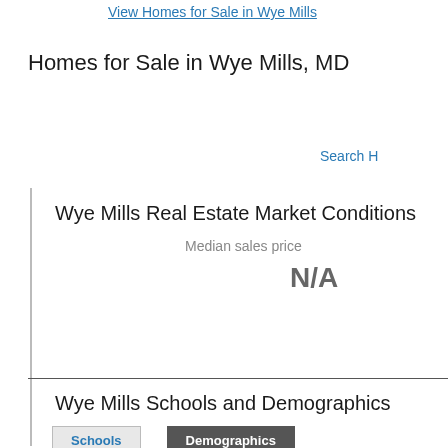View Homes for Sale in Wye Mills
Homes for Sale in Wye Mills, MD
Search H
Wye Mills Real Estate Market Conditions
Median sales price
N/A
Wye Mills Schools and Demographics
Schools
Demographics
Elementary Schools near Wye Mills, MD